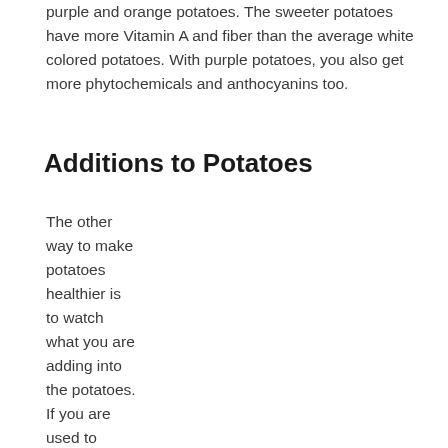purple and orange potatoes. The sweeter potatoes have more Vitamin A and fiber than the average white colored potatoes. With purple potatoes, you also get more phytochemicals and anthocyanins too.
Additions to Potatoes
The other way to make potatoes healthier is to watch what you are adding into the potatoes. If you are used to adding in cheese, butter and cream to your potatoes that is not going